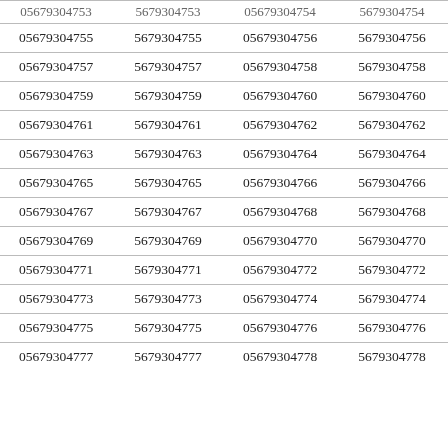| 05679304753 | 5679304753 | 05679304754 | 5679304754 |
| 05679304755 | 5679304755 | 05679304756 | 5679304756 |
| 05679304757 | 5679304757 | 05679304758 | 5679304758 |
| 05679304759 | 5679304759 | 05679304760 | 5679304760 |
| 05679304761 | 5679304761 | 05679304762 | 5679304762 |
| 05679304763 | 5679304763 | 05679304764 | 5679304764 |
| 05679304765 | 5679304765 | 05679304766 | 5679304766 |
| 05679304767 | 5679304767 | 05679304768 | 5679304768 |
| 05679304769 | 5679304769 | 05679304770 | 5679304770 |
| 05679304771 | 5679304771 | 05679304772 | 5679304772 |
| 05679304773 | 5679304773 | 05679304774 | 5679304774 |
| 05679304775 | 5679304775 | 05679304776 | 5679304776 |
| 05679304777 | 5679304777 | 05679304778 | 5679304778 |